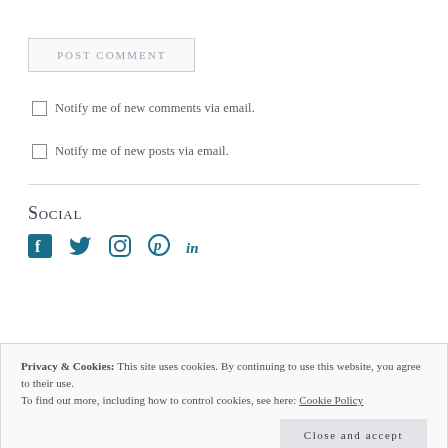POST COMMENT
Notify me of new comments via email.
Notify me of new posts via email.
Social
[Figure (infographic): Social media icons: Facebook, Twitter, Instagram, Pinterest, LinkedIn]
Privacy & Cookies: This site uses cookies. By continuing to use this website, you agree to their use. To find out more, including how to control cookies, see here: Cookie Policy
Close and accept